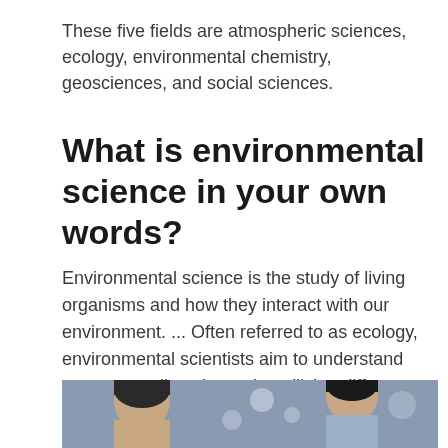These five fields are atmospheric sciences, ecology, environmental chemistry, geosciences, and social sciences.
What is environmental science in your own words?
Environmental science is the study of living organisms and how they interact with our environment. ... Often referred to as ecology, environmental scientists aim to understand our surroundings better by utilizing different fields and combining the various findings to create a complete picture.
[Figure (photo): Photo showing people (students or scientists), partially visible at the bottom of the page]